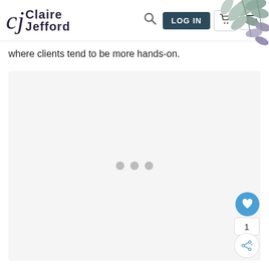Claire Jefford — navigation bar with logo, search, LOG IN, cart, and menu icons
[Figure (illustration): Eucalyptus leaves watercolor decoration in top-right corner]
where clients tend to be more hands-on.
[Figure (other): Light grey content/loading area with three grey dots indicating loading state]
[Figure (other): Blue heart favourite button, count badge showing 1, and share button on right side]